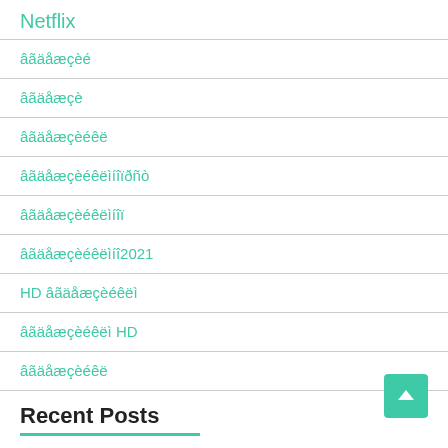Netflix
????????
???????
??????????
??????????????????
????????????????
??????????????2021
HD ????????????
????????????? HD
????????????
Recent Posts
The Importance of Ventilation